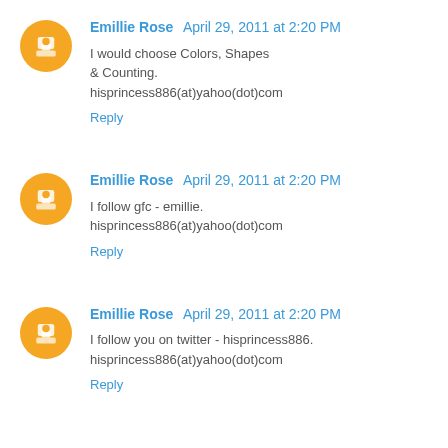Emillie Rose  April 29, 2011 at 2:20 PM
I would choose Colors, Shapes & Counting.
hisprincess886(at)yahoo(dot)com
Reply
Emillie Rose  April 29, 2011 at 2:20 PM
I follow gfc - emillie.
hisprincess886(at)yahoo(dot)com
Reply
Emillie Rose  April 29, 2011 at 2:20 PM
I follow you on twitter - hisprincess886.
hisprincess886(at)yahoo(dot)com
Reply